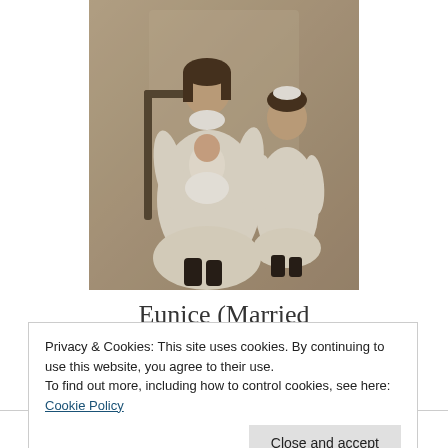[Figure (photo): Sepia-toned antique photograph of a woman seated in a chair holding a baby/toddler, with a young girl standing to the right. All are wearing white clothing. Early 20th century portrait.]
Eunice (Married
Privacy & Cookies: This site uses cookies. By continuing to use this website, you agree to their use.
To find out more, including how to control cookies, see here: Cookie Policy
Close and accept
Name-Henpel)